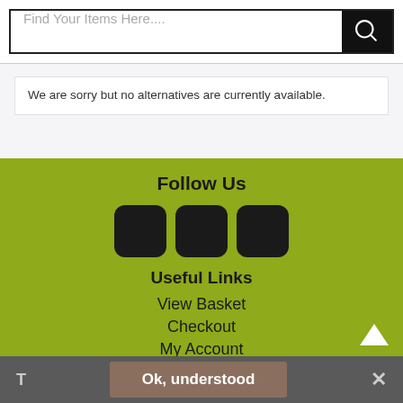Find Your Items Here....
We are sorry but no alternatives are currently available.
Follow Us
[Figure (illustration): Social media icons: Twitter bird icon, LinkedIn 'in' icon, Facebook 'f' icon — all in dark rounded-square boxes on olive/green background]
Useful Links
View Basket
Checkout
My Account
T  Ok, understood  ✕